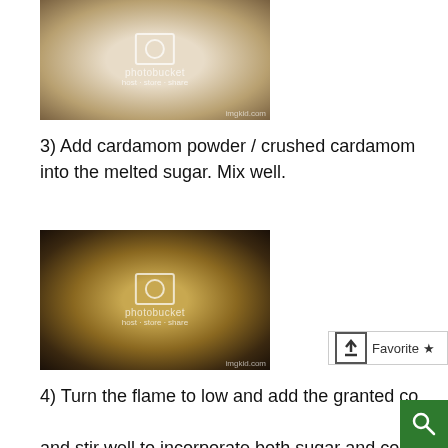[Figure (photo): Photo of melted sugar in a dark pan, seen from above, with Photobucket watermark overlay]
3) Add cardamom powder / crushed cardamom into the melted sugar. Mix well.
[Figure (photo): Photo of cooked sugar with cardamom in a dark pan, with Photobucket watermark overlay]
4) Turn the flame to low and add the granted co... and stir well to incorporate both sugar and cocon...